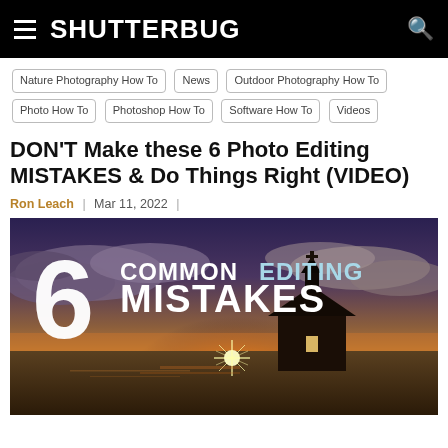SHUTTERBUG
Nature Photography How To
News
Outdoor Photography How To
Photo How To
Photoshop How To
Software How To
Videos
DON'T Make these 6 Photo Editing MISTAKES & Do Things Right (VIDEO)
Ron Leach | Mar 11, 2022 |
[Figure (photo): Promotional thumbnail image showing a dark church silhouette against a dramatic sunset sky with the overlaid text '6 COMMON EDITING MISTAKES' in large white and light blue letters.]